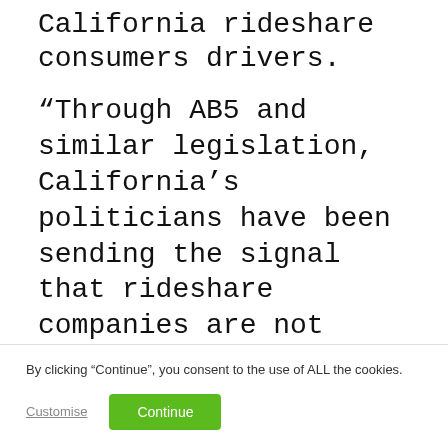California rideshare consumers drivers.
“Through AB5 and similar legislation, California’s politicians have been sending the signal that rideshare companies are not welcome in the Golden State. But that’s not what consumers want,” said Ossowski. “The flexible model that has so far propelled the growth of companies like Uber, Lyft, and others has been beneficial for both drivers
By clicking “Continue”, you consent to the use of ALL the cookies.
Customise | Continue